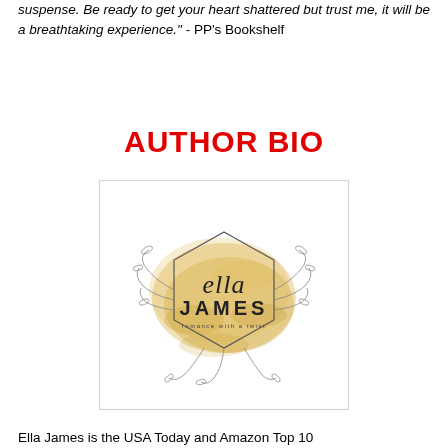suspense. Be ready to get your heart shattered but trust me, it will be a breathtaking experience." - PP's Bookshelf
AUTHOR BIO
[Figure (logo): Ella James author logo — hexagonal botanical frame with gold watercolor background, script text 'ella JAMES romance with a twist']
Ella James is the USA Today and Amazon Top 10